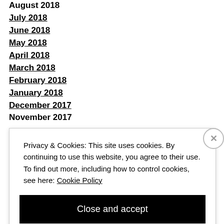August 2018
July 2018
June 2018
May 2018
April 2018
March 2018
February 2018
January 2018
December 2017
November 2017
Privacy & Cookies: This site uses cookies. By continuing to use this website, you agree to their use. To find out more, including how to control cookies, see here: Cookie Policy
Close and accept
[Figure (other): Bottom navigation bar with orange, dark, and orange colored segments]